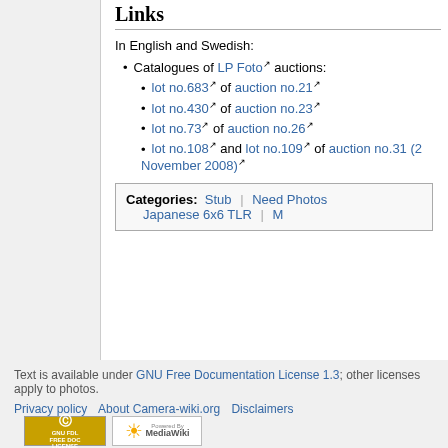Links
In English and Swedish:
Catalogues of LP Foto auctions:
lot no.683 of auction no.21
lot no.430 of auction no.23
lot no.73 of auction no.26
lot no.108 and lot no.109 of auction no.31 (2 November 2008)
| Categories: | Stub | | | Need Photos | | | Japanese 6x6 TLR | | | M |
Text is available under GNU Free Documentation License 1.3; other licenses apply to photos.
Privacy policy   About Camera-wiki.org   Disclaimers